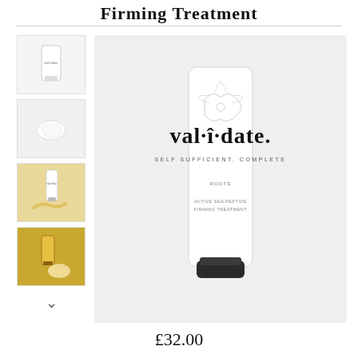Firming Treatment
[Figure (photo): Main product image: white tube of val-i-date skincare product labeled 'SELF SUFFICIENT. COMPLETE' with decorative floral illustration on a light background, with black cap at bottom]
[Figure (photo): Thumbnail 1: White tube of val-i-date product on white background]
[Figure (photo): Thumbnail 2: Clear/white cream swatch on white background]
[Figure (photo): Thumbnail 3: Product tube with golden cream swirl on golden background]
[Figure (photo): Thumbnail 4: Gold-colored product tube with cream swatch on golden background]
£32.00